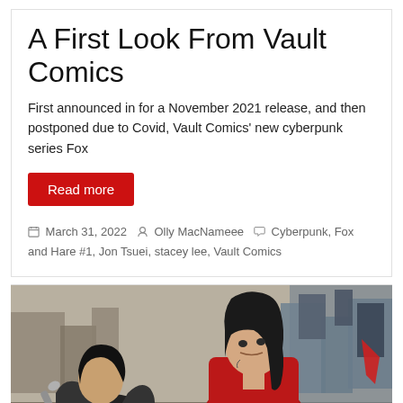A First Look From Vault Comics
First announced in for a November 2021 release, and then postponed due to Covid, Vault Comics' new cyberpunk series Fox
Read more
March 31, 2022  Olly MacNamee  Cyberpunk, Fox and Hare #1, Jon Tsuei, stacey lee, Vault Comics
[Figure (illustration): Comic book illustration showing two characters in a cyberpunk setting — one with dark long hair in a red jacket looking to the right, another character in the foreground, with a dystopian city background]